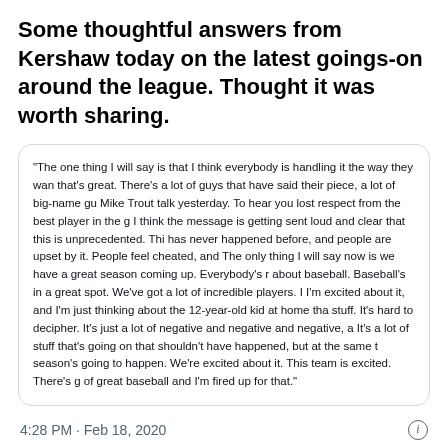Some thoughtful answers from Kershaw today on the latest goings-on around the league. Thought it was worth sharing.
“The one thing I will say is that I think everybody is handling it the way they wan that’s great. There’s a lot of guys that have said their piece, a lot of big-name gu Mike Trout talk yesterday. To hear you lost respect from the best player in the g I think the message is getting sent loud and clear that this is unprecedented. Thi has never happened before, and people are upset by it. People feel cheated, anе The only thing I will say now is we have a great season coming up. Everybody’s r about baseball. Baseball’s in a great spot. We’ve got a lot of incredible players. I I’m excited about it, and I’m just thinking about the 12-year-old kid at home tha stuff. It’s hard to decipher. It’s just a lot of negative and negative and negative, a It’s a lot of stuff that’s going on that shouldn’t have happened, but at the same t season’s going to happen. We’re excited about it. This team is excited. There’s g of great baseball and I’m fired up for that.”
4:28 PM · Feb 18, 2020
399
Reply
Copy link
Read 7 replies